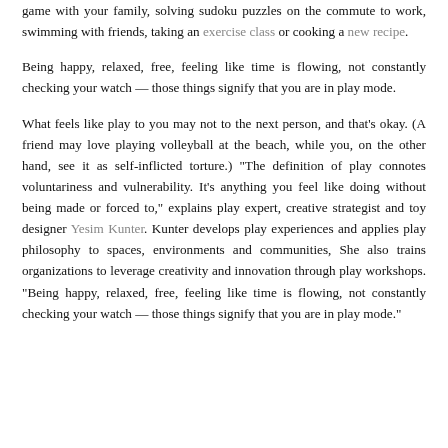game with your family, solving sudoku puzzles on the commute to work, swimming with friends, taking an exercise class or cooking a new recipe. Being happy, relaxed, free, feeling like time is flowing, not constantly checking your watch — those things signify that you are in play mode. What feels like play to you may not to the next person, and that's okay. (A friend may love playing volleyball at the beach, while you, on the other hand, see it as self-inflicted torture.) "The definition of play connotes voluntariness and vulnerability. It's anything you feel like doing without being made or forced to," explains play expert, creative strategist and toy designer Yesim Kunter. Kunter develops play experiences and applies play philosophy to spaces, environments and communities, She also trains organizations to leverage creativity and innovation through play workshops. "Being happy, relaxed, free, feeling like time is flowing, not constantly checking your watch — those things signify that you are in play mode."